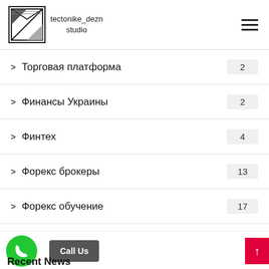tectonike_dezn studio
Торговая платформа 2
Финансы Украины 2
Финтех 4
Форекс брокеры 13
Форекс обучение 17
Форекс партнерская программа 4
Call Us
Recent News